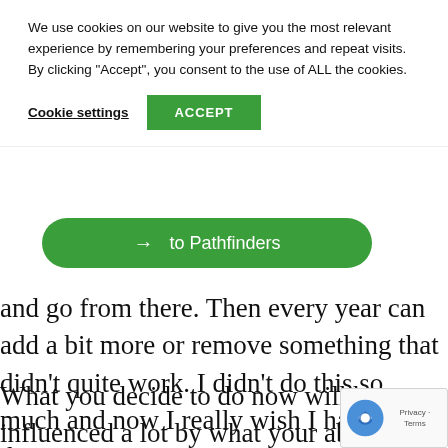We use cookies on our website to give you the most relevant experience by remembering your preferences and repeat visits. By clicking “Accept”, you consent to the use of ALL the cookies.
Cookie settings   ACCEPT
[Figure (other): Green pill-shaped button with arrow and text 'to Pathfinders']
and go from there. Then every year can add a bit more or remove something that didn’t quite work. I didn’t do this so much and now I really wish I had of done.
What you decide to do now will be influenced a lot by what your abilities are. In my case, I can’t anything physical. That means that I need to my career to do most of the labour. Fortunately f